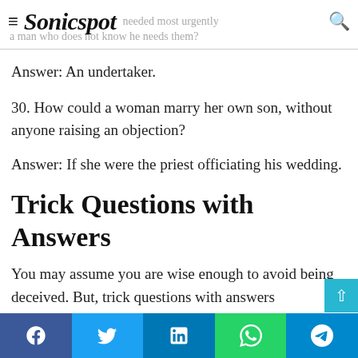Sonicspot — needed most urgently a man who does not know he needs them?
Answer: An undertaker.
30. How could a woman marry her own son, without anyone raising an objection?
Answer: If she were the priest officiating his wedding.
Trick Questions with Answers
You may assume you are wise enough to avoid being deceived. But, trick questions with answers
Facebook Twitter LinkedIn WhatsApp Telegram